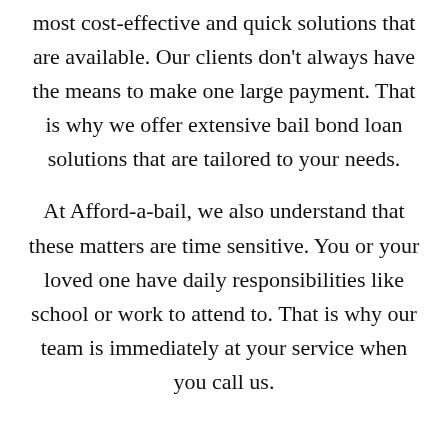most cost-effective and quick solutions that are available. Our clients don't always have the means to make one large payment. That is why we offer extensive bail bond loan solutions that are tailored to your needs.
At Afford-a-bail, we also understand that these matters are time sensitive. You or your loved one have daily responsibilities like school or work to attend to. That is why our team is immediately at your service when you call us.